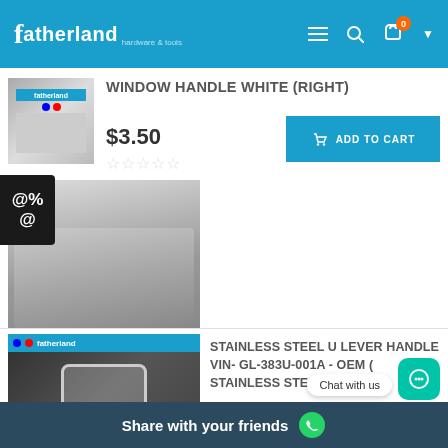fatherland
WINDOW HANDLE WHITE (RIGHT)
$3.50
[Figure (photo): Fatherland product thumbnail showing window handle packaging]
[Figure (photo): Close-up image of white window handle parts]
STAINLESS STEEL U LEVER HANDLE VIN- GL-383U-001A - OEM ( STAINLESS STEEL )
$19.50
[Figure (photo): Fatherland product image showing stainless steel U lever handle in packaging]
Share with your friends